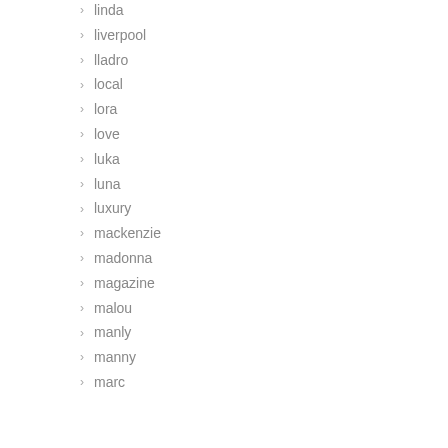linda
liverpool
lladro
local
lora
love
luka
luna
luxury
mackenzie
madonna
magazine
malou
manly
manny
marc